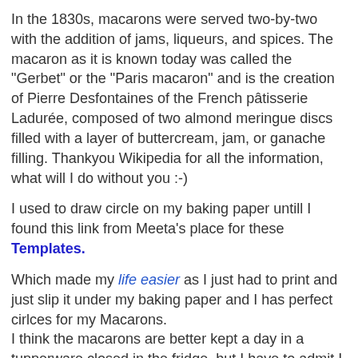In the 1830s, macarons were served two-by-two with the addition of jams, liqueurs, and spices. The macaron as it is known today was called the "Gerbet" or the "Paris macaron" and is the creation of Pierre Desfontaines of the French pâtisserie Ladurée, composed of two almond meringue discs filled with a layer of buttercream, jam, or ganache filling. Thankyou Wikipedia for all the information, what will I do without you :-)
I used to draw circle on my baking paper untill I found this link from Meeta's place for these Templates.
Which made my life easier as I just had to print and just slip it under my baking paper and I has perfect cirlces for my Macarons.
I think the macarons are better kept a day in a tupperware closed in the fridge, but I have to admit I eat them the day itself one or two and the rest I keep in the fridge.
When I use butter cream filling, till now I have kept them for 5 days in the fridge and each day for afternoon coffee I take few and bring to the table.
[Figure (photo): Two side-by-side photos of macarons, left showing pinkish-red macarons and right showing green/brown macarons]